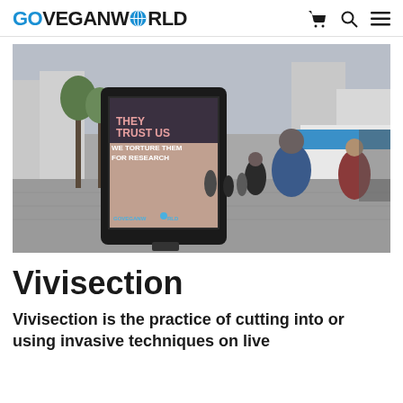GOVEGANWORLD
[Figure (photo): A street scene showing a digital billboard/kiosk displaying a Go Vegan World advertisement that reads 'THEY TRUST US WE TORTURE THEM FOR RESEARCH' with the GOVEGANWORLD logo. People are walking past in a busy pedestrian area with shops including one with a blue awning in the background.]
Vivisection
Vivisection is the practice of cutting into or using invasive techniques on live